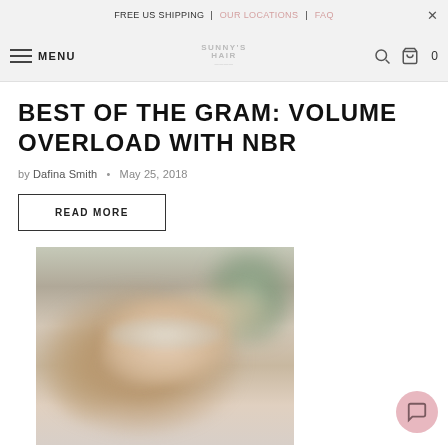FREE US SHIPPING | OUR LOCATIONS | FAQ
MENU | SUNNY'S HAIR | 0
BEST OF THE GRAM: VOLUME OVERLOAD WITH NBR
by Dafina Smith • May 25, 2018
READ MORE
[Figure (photo): Blurred photo of a smiling woman with long blonde wavy hair and reflective sunglasses, greenery in background]